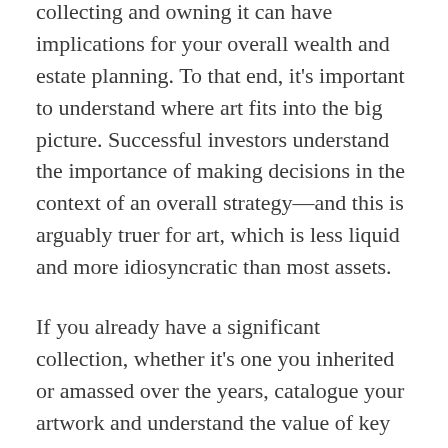collecting and owning it can have implications for your overall wealth and estate planning. To that end, it's important to understand where art fits into the big picture. Successful investors understand the importance of making decisions in the context of an overall strategy—and this is arguably truer for art, which is less liquid and more idiosyncratic than most assets.
If you already have a significant collection, whether it's one you inherited or amassed over the years, catalogue your artwork and understand the value of key pieces and your total collection. This information will prove essential for making informed decisions, including whether to maintain your collection, if and when to sell a work of art, and